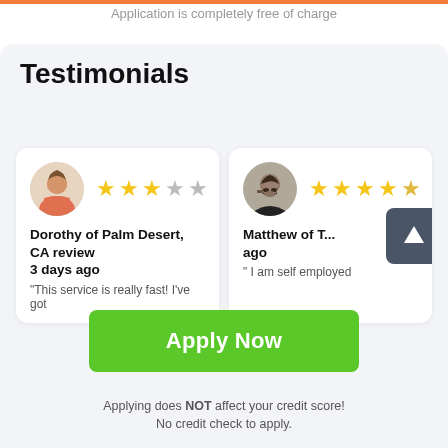Application is completely free of charge
Testimonials
[Figure (other): Testimonial card for Dorothy of Palm Desert, CA with 3-star rating out of 5. Review text: 'This service is really fast! I've got']
[Figure (other): Testimonial card for Matthew (partially visible) with approximately 4-star rating. Review text: 'I am self employed']
Apply Now
Applying does NOT affect your credit score!
No credit check to apply.